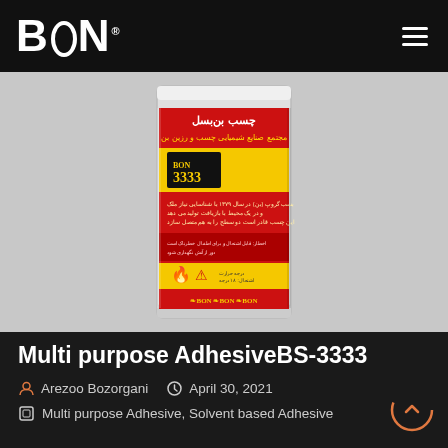[Figure (logo): BON logo in white bold text on black background with TM superscript]
[Figure (photo): BON 3333 multi-purpose adhesive product tin can with red and yellow label showing Arabic/Persian text, BON branding, and safety symbols]
Multi purpose AdhesiveBS-3333
Arezoo Bozorgani
April 30, 2021
Multi purpose Adhesive, Solvent based Adhesive